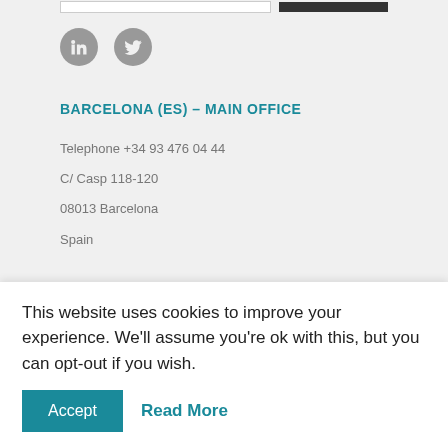[Figure (other): Social media icons: LinkedIn and Twitter, displayed as grey circles with white icons]
BARCELONA (ES) – MAIN OFFICE
Telephone +34 93 476 04 44
C/ Casp 118-120
08013 Barcelona
Spain
CAMBRIDGE (UK) OFFICE
This website uses cookies to improve your experience. We'll assume you're ok with this, but you can opt-out if you wish.